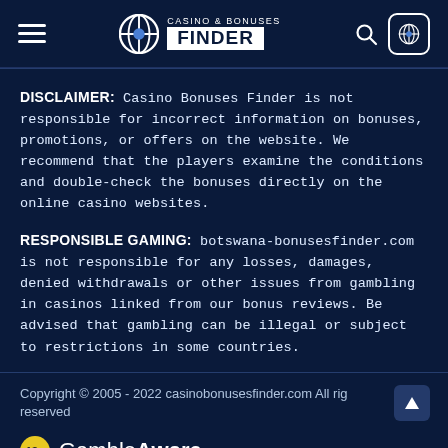Casino & Bonuses Finder
DISCLAIMER: Casino Bonuses Finder is not responsible for incorrect information on bonuses, promotions, or offers on the website. We recommend that the players examine the conditions and double-check the bonuses directly on the online casino websites.
RESPONSIBLE GAMING: botswana-bonusesfinder.com is not responsible for any losses, damages, denied withdrawals or other issues from gambling in casinos linked from our bonus reviews. Be advised that gambling can be illegal or subject to restrictions in some countries.
Copyright © 2005 - 2022 casinobonusesfinder.com All rights reserved
Gamble Aware